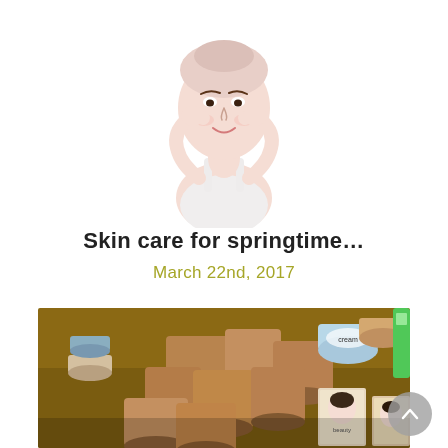[Figure (photo): Young Asian woman in white tank top with pink towel wrapped on head, touching her cheeks and smiling, skincare context, white background]
Skin care for springtime…
March 22nd, 2017
[Figure (photo): Market stall with traditional herbal skincare products: stacked wooden bark sticks and round tins/jars of cream with Asian packaging, colorful product labels]